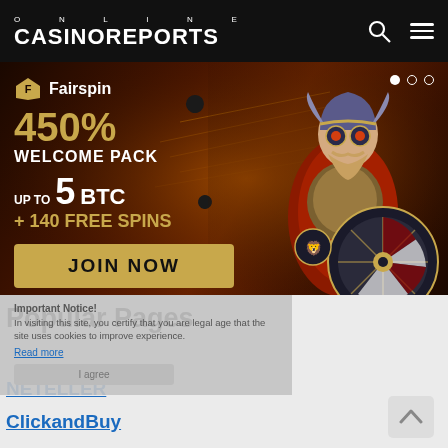ONLINE CASINOREPORTS
[Figure (illustration): Fairspin casino banner advertisement showing a Viking warrior with roulette wheel. Dark orange/brown background with gold accents. Text: Fairspin, 450% WELCOME PACK, UP TO 5 BTC + 140 FREE SPINS, JOIN NOW button. Three dots indicator top right.]
Important Notice!
In visiting this site, you certify that you are legal age that the site uses cookies to improve experience.
Popular Pages
Read more
NETELLER
ClickandBuy